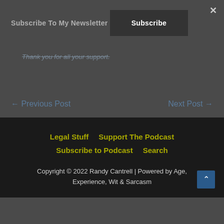Subscribe To My Newsletter
Subscribe
Thank you for all your support.
← Previous Post
Next Post →
Legal Stuff   Support The Podcast   Subscribe to Podcast   Search
Copyright © 2022 Randy Cantrell | Powered by Age, Experience, Wit & Sarcasm